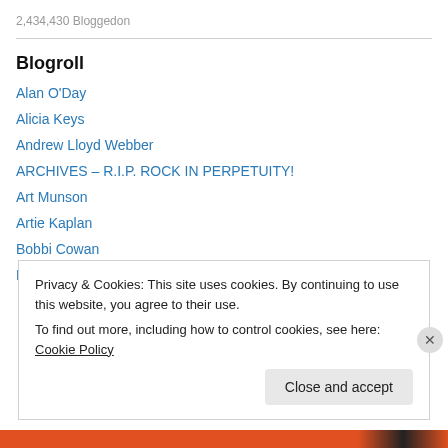2,434,430 Bloggedon
Blogroll
Alan O'Day
Alicia Keys
Andrew Lloyd Webber
ARCHIVES – R.I.P. ROCK IN PERPETUITY!
Art Munson
Artie Kaplan
Bobbi Cowan
Brian Wilson
Privacy & Cookies: This site uses cookies. By continuing to use this website, you agree to their use. To find out more, including how to control cookies, see here: Cookie Policy
Close and accept